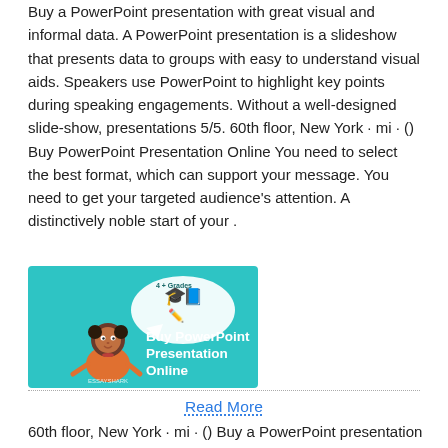Buy a PowerPoint presentation with great visual and informal data. A PowerPoint presentation is a slideshow that presents data to groups with easy to understand visual aids. Speakers use PowerPoint to highlight key points during speaking engagements. Without a well-designed slide-show, presentations 5/5. 60th floor, New York · mi · () Buy PowerPoint Presentation Online You need to select the best format, which can support your message. You need to get your targeted audience's attention. A distinctively noble start of your .
[Figure (illustration): Promotional image for 'Buy PowerPoint Presentation Online' showing a cartoon girl with a speech bubble and academic icons on a teal background, with a logo at the bottom.]
Read More
60th floor, New York · mi · () Buy a PowerPoint presentation with great visual and informal data. A PowerPoint presentation is a